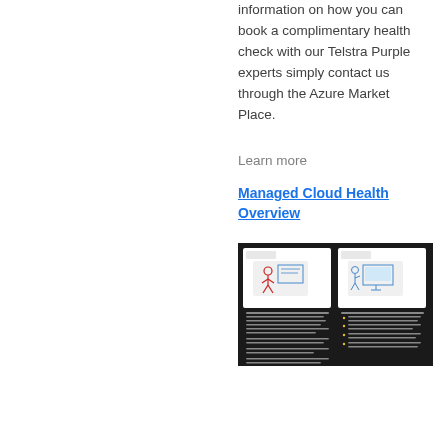information on how you can book a complimentary health check with our Telstra Purple experts simply contact us through the Azure Market Place.
Learn more
Managed Cloud Health Overview
[Figure (screenshot): Screenshot of a presentation slide with dark background showing two-panel layout with illustrations of people at computers and bullet point text describing managed cloud health services]